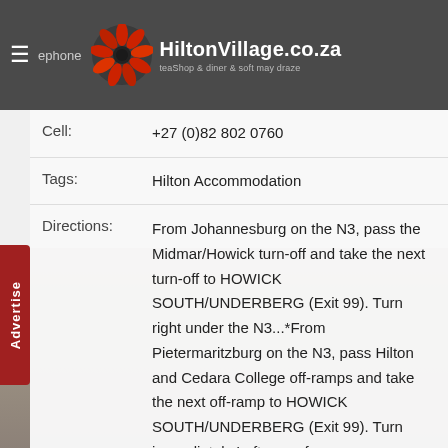HiltonVillage.co.za — teaShop & diner & soft may draze
Cell: +27 (0)82 802 0760
Tags: Hilton Accommodation
Directions: From Johannesburg on the N3, pass the Midmar/Howick turn-off and take the next turn-off to HOWICK SOUTH/UNDERBERG (Exit 99). Turn right under the N3...*From Pietermaritzburg on the N3, pass Hilton and Cedara College off-ramps and take the next off-ramp to HOWICK SOUTH/UNDERBERG (Exit 99). Turn immediately Left away from N3...**...Approximately 100m up the road (with ESKOM on your right) take the first road left into Wilson Road (R103). Proceed to T-junction at the end of Wilson